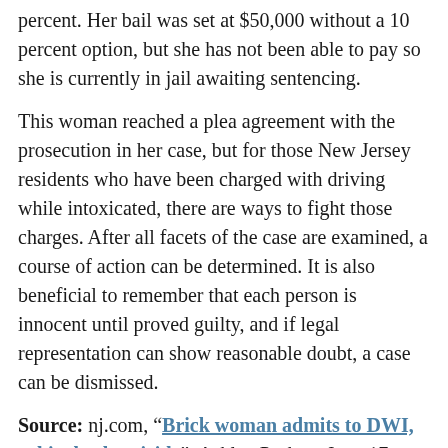percent. Her bail was set at $50,000 without a 10 percent option, but she has not been able to pay so she is currently in jail awaiting sentencing.
This woman reached a plea agreement with the prosecution in her case, but for those New Jersey residents who have been charged with driving while intoxicated, there are ways to fight those charges. After all facets of the case are examined, a course of action can be determined. It is also beneficial to remember that each person is innocent until proved guilty, and if legal representation can show reasonable doubt, a case can be dismissed.
Source: nj.com, “Brick woman admits to DWI, vehicular homicide”, Ashley Peskoe, June 17, 2014
Tags: driving while intoxicated, field sobriety test
Related Posts: New Jersey policeman suspected of